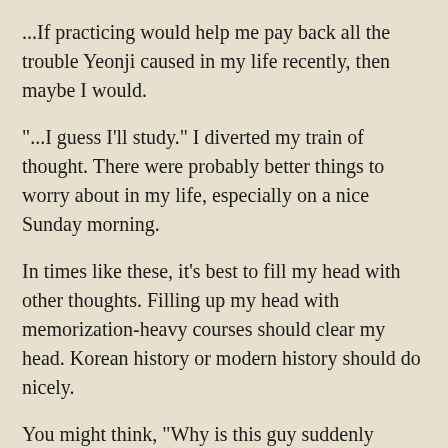...If practicing would help me pay back all the trouble Yeonji caused in my life recently, then maybe I would.
"...I guess I'll study." I diverted my train of thought. There were probably better things to worry about in my life, especially on a nice Sunday morning.
In times like these, it's best to fill my head with other thoughts. Filling up my head with memorization-heavy courses should clear my head. Korean history or modern history should do nicely.
You might think, "Why is this guy suddenly thinking about studying?" But don't forget that I'm still a student at Eunsung. It might seem that all I really do in school is hang around with Yeonji, but I've always been studying to maintain a decent grade.
When do you ever see anime characters study, other than in one or two episodes? They're all studying when they're not on screen, of course; even if some high school girls who do nothing but eat cake all day get admitted into Ivy League...